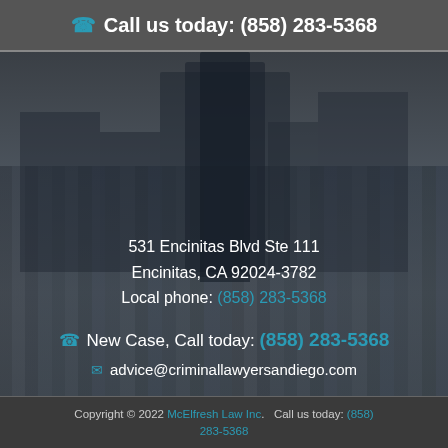Call us today: (858) 283-5368
[Figure (photo): City skyline background, dark gray toned, showing urban buildings]
531 Encinitas Blvd Ste 111
Encinitas, CA 92024-3782
Local phone: (858) 283-5368
New Case, Call today: (858) 283-5368
advice@criminallawyersandiego.com
Copyright © 2022 McElfresh Law Inc.   Call us today: (858) 283-5368